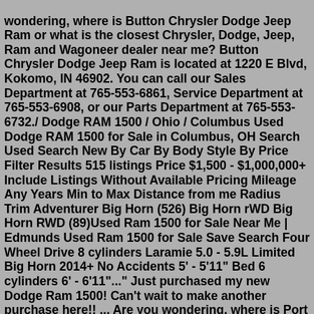wondering, where is Button Chrysler Dodge Jeep Ram or what is the closest Chrysler, Dodge, Jeep, Ram and Wagoneer dealer near me? Button Chrysler Dodge Jeep Ram is located at 1220 E Blvd, Kokomo, IN 46902. You can call our Sales Department at 765-553-6861, Service Department at 765-553-6908, or our Parts Department at 765-553-6732./ Dodge RAM 1500 / Ohio / Columbus Used Dodge RAM 1500 for Sale in Columbus, OH Search Used Search New By Car By Body Style By Price Filter Results 515 listings Price $1,500 - $1,000,000+ Include Listings Without Available Pricing Mileage Any Years Min to Max Distance from me Radius Trim Adventurer Big Horn (526) Big Horn rWD Big Horn RWD (89)Used Ram 1500 for Sale Near Me | Edmunds Used Ram 1500 for Sale Save Search Four Wheel Drive 8 cylinders Laramie 5.0 - 5.9L Limited Big Horn 2014+ No Accidents 5' - 5'11" Bed 6 cylinders 6' - 6'11"..." Just purchased my new Dodge Ram 1500! Can't wait to make another purchase here!! ... Are you wondering, where is Port Lavaca CDJR or what is the closest